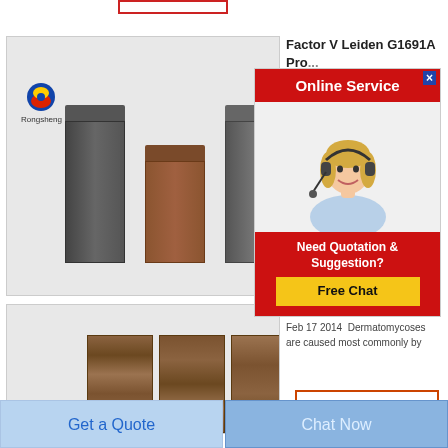[Figure (photo): Product image showing three stone/brick columns of varying colors (dark gray, brown, dark gray) on a light background, with Rongsheng logo top-left]
Factor V Leiden G1691A
Pro...
and...
Requ...
G169...
[Figure (screenshot): Online Service popup with red header, close button, female agent with headset, Need Quotation & Suggestion text, and Free Chat button]
[Figure (photo): Product image showing wooden planks (dark brown) with Rongsheng logo top-left]
Myc...
Feb 17 2014  Dermatomycoses are caused most commonly by
[Figure (other): Get Price button with orange border]
Get a Quote
Chat Now